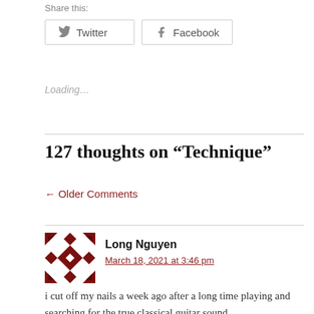Share this:
Twitter  Facebook
Loading…
127 thoughts on “Technique”
← Older Comments
Long Nguyen
March 18, 2021 at 3:46 pm
i cut off my nails a week ago after a long time playing and searching for the true classical guitar sound.
I am in a slow progress towards that true sound but i